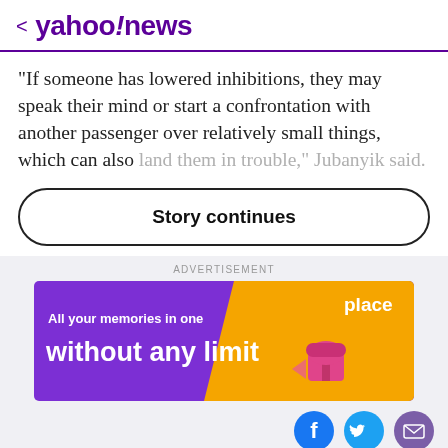< yahoo!news
“If someone has lowered inhibitions, they may speak their mind or start a confrontation with another passenger over relatively small things, which can also land them in trouble,” Jubanyik said.
Story continues
[Figure (other): Advertisement banner: purple and orange background with text 'All your memories in one place without any limit' and an illustration of a mailbox.]
[Figure (other): Social media share icons: Facebook (blue circle with F), Twitter (light blue circle with bird), Email (purple circle with envelope)]